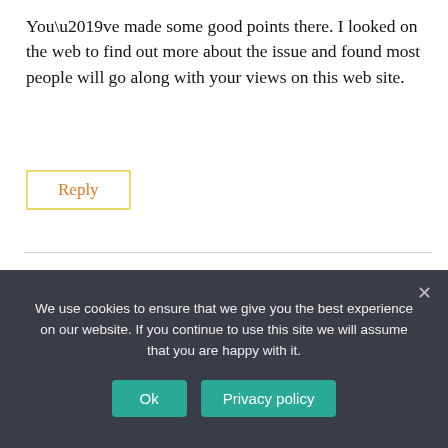You’ve made some good points there. I looked on the web to find out more about the issue and found most people will go along with your views on this web site.
Reply
usfl betting lines says:
June 27, 2023 at 8:33
We use cookies to ensure that we give you the best experience on our website. If you continue to use this site we will assume that you are happy with it.
Ok
Privacy policy